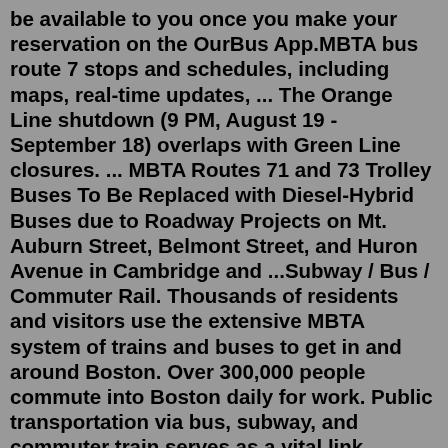be available to you once you make your reservation on the OurBus App.MBTA bus route 7 stops and schedules, including maps, real-time updates, ... The Orange Line shutdown (9 PM, August 19 - September 18) overlaps with Green Line closures. ... MBTA Routes 71 and 73 Trolley Buses To Be Replaced with Diesel-Hybrid Buses due to Roadway Projects on Mt. Auburn Street, Belmont Street, and Huron Avenue in Cambridge and ...Subway / Bus / Commuter Rail. Thousands of residents and visitors use the extensive MBTA system of trains and buses to get in and around Boston. Over 300,000 people commute into Boston daily for work. Public transportation via bus, subway, and commuter train serves as a vital link between Downtown and surrounding neighborhoods and the greater ... Route description. Route 9 passes through six counties and twenty-eight cities and towns. It begins in the western Massachusetts city of Pittsfield, at U.S. Route 20.After separating from US-20, it has a brief .2 mile concurrency with U.S. Route 7 through the center of that city, then continues east...